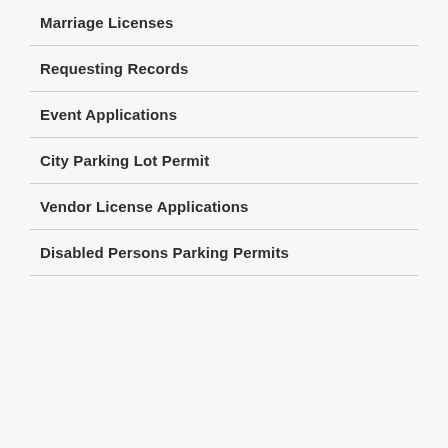Marriage Licenses
Requesting Records
Event Applications
City Parking Lot Permit
Vendor License Applications
Disabled Persons Parking Permits